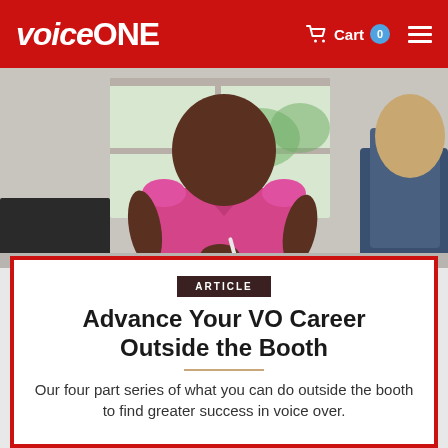VoiceONE  Cart 0
[Figure (photo): A Black woman in a bright pink top sitting and holding a pencil, appearing to be in a meeting or group session, with a window in the background and another person partially visible on the right.]
ARTICLE
Advance Your VO Career Outside the Booth
Our four part series of what you can do outside the booth to find greater success in voice over.